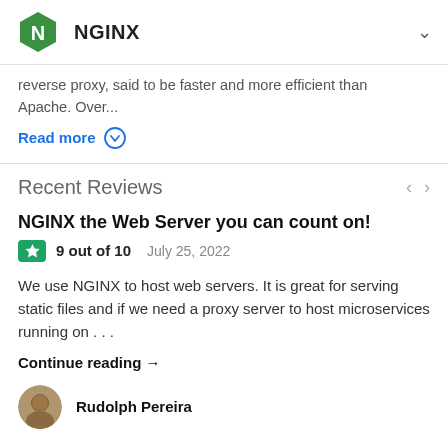NGINX
reverse proxy, said to be faster and more efficient than Apache. Over...
Read more
Recent Reviews
NGINX the Web Server you can count on!
9 out of 10   July 25, 2022
We use NGINX to host web servers. It is great for serving static files and if we need a proxy server to host microservices running on . . .
Continue reading →
Rudolph Pereira